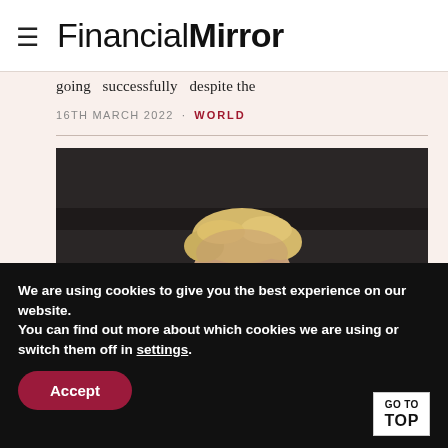Financial Mirror
going  successfully  despite the
16TH MARCH 2022  •  WORLD
[Figure (photo): Portrait photograph of a person with blond hair in a dark suit, photographed from close range against a dark background.]
We are using cookies to give you the best experience on our website.
You can find out more about which cookies we are using or switch them off in settings.
Accept
GO TO TOP